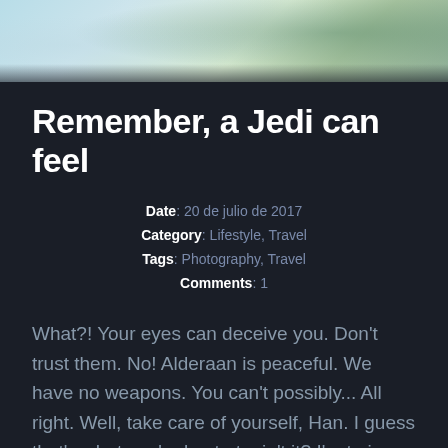[Figure (photo): Aerial photograph of a beach and coastline with turquoise water, sandy shore, and green vegetation]
Remember, a Jedi can feel
Date: 20 de julio de 2017
Category: Lifestyle, Travel
Tags: Photography, Travel
Comments: 1
What?! Your eyes can deceive you. Don't trust them. No! Alderaan is peaceful. We have no weapons. You can't possibly... All right. Well, take care of yourself, Han. I guess that's what you're best at, ain't it? I'm trying not to, kid. Remember, a Jedi can feel the Force flowing through him. You mean it controls your actions? Obi-Wan is here. The Force is with him.